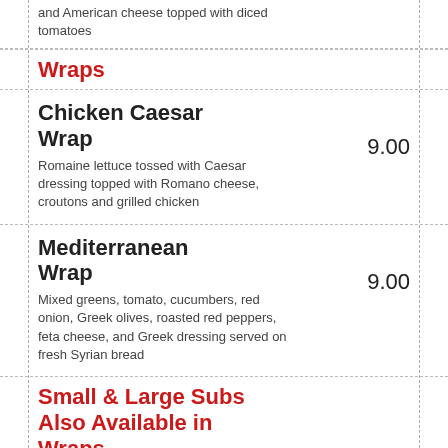and American cheese topped with diced tomatoes
Wraps
Chicken Caesar Wrap
Romaine lettuce tossed with Caesar dressing topped with Romano cheese, croutons and grilled chicken
9.00
Mediterranean Wrap
Mixed greens, tomato, cucumbers, red onion, Greek olives, roasted red peppers, feta cheese, and Greek dressing served on fresh Syrian bread
9.00
Small & Large Subs Also Available in Wraps
Turkey	8.00	9.00